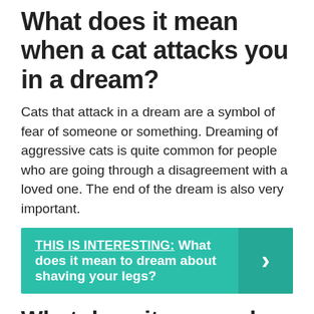What does it mean when a cat attacks you in a dream?
Cats that attack in a dream are a symbol of fear of someone or something. Dreaming of aggressive cats is quite common for people who are going through a disagreement with a loved one. The end of the dream is also very important.
THIS IS INTERESTING: What does it mean to dream about shaving your legs?
What does it mean when you dream about your ex?
"Dreaming about a long-ago ex — especially